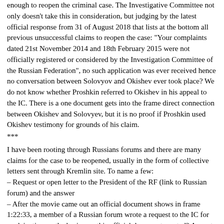enough to reopen the criminal case. The Investigative Committee not only doesn't take this in consideration, but judging by the latest official response from 31 of August 2018 that lists at the bottom all previous unsuccessful claims to reopen the case: "Your complaints dated 21st November 2014 and 18th February 2015 were not officially registered or considered by the Investigation Committee of the Russian Federation", no such application was ever received hence no conversation between Solovyov and Okishev ever took place? We do not know whether Proshkin referred to Okishev in his appeal to the IC. There is a one document gets into the frame direct connection between Okishev and Solovyev, but it is no proof if Proshkin used Okishev testimony for grounds of his claim.
***
I have been rooting through Russians forums and there are many claims for the case to be reopened, usually in the form of collective letters sent through Kremlin site. To name a few:
– Request or open letter to the President of the RF (link to Russian forum) and the answer
– After the movie came out an official document shows in frame 1:22:33, a member of a Russian forum wrote a request to the IC for explaination on the basis was this official document created? As part of what is the official preliminary inquiry? And he received this answer - within the framework of the appeal of Komsomolskaya Pravda chief editor Sungorkin. This doesn't explain anything.
The point is that the answers always repeat Shkryabach